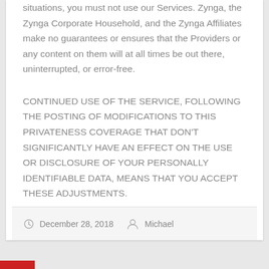situations, you must not use our Services. Zynga, the Zynga Corporate Household, and the Zynga Affiliates make no guarantees or ensures that the Providers or any content on them will at all times be out there, uninterrupted, or error-free.
CONTINUED USE OF THE SERVICE, FOLLOWING THE POSTING OF MODIFICATIONS TO THIS PRIVATENESS COVERAGE THAT DON'T SIGNIFICANTLY HAVE AN EFFECT ON THE USE OR DISCLOSURE OF YOUR PERSONALLY IDENTIFIABLE DATA, MEANS THAT YOU ACCEPT THESE ADJUSTMENTS.
...
December 28, 2018  Michael